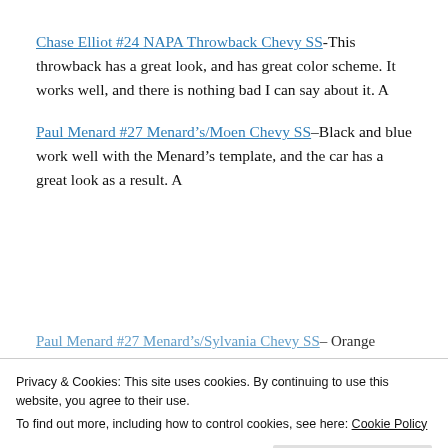Chase Elliot #24 NAPA Throwback Chevy SS-This throwback has a great look, and has great color scheme. It works well, and there is nothing bad I can say about it. A
Paul Menard #27 Menard's/Moen Chevy SS–Black and blue work well with the Menard's template, and the car has a great look as a result. A
Paul Menard #27 Menard's/Sylvania Chevy SS– Orange
Privacy & Cookies: This site uses cookies. By continuing to use this website, you agree to their use.
To find out more, including how to control cookies, see here: Cookie Policy
Close and accept